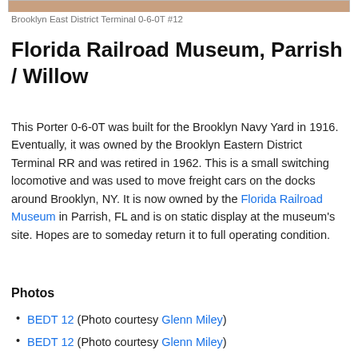[Figure (photo): Cropped top edge of a photograph of the Brooklyn East District Terminal 0-6-0T #12 locomotive]
Brooklyn East District Terminal 0-6-0T #12
Florida Railroad Museum, Parrish / Willow
This Porter 0-6-0T was built for the Brooklyn Navy Yard in 1916. Eventually, it was owned by the Brooklyn Eastern District Terminal RR and was retired in 1962. This is a small switching locomotive and was used to move freight cars on the docks around Brooklyn, NY. It is now owned by the Florida Railroad Museum in Parrish, FL and is on static display at the museum's site. Hopes are to someday return it to full operating condition.
Photos
BEDT 12 (Photo courtesy Glenn Miley)
BEDT 12 (Photo courtesy Glenn Miley)